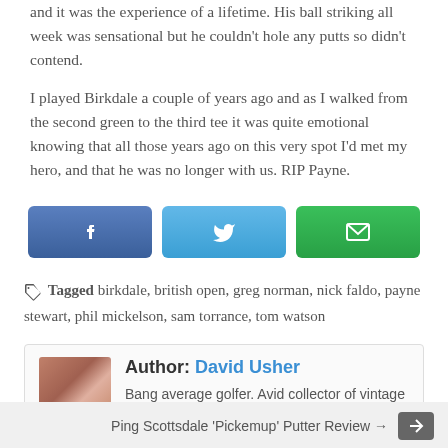and it was the experience of a lifetime. His ball striking all week was sensational but he couldn't hole any putts so didn't contend.
I played Birkdale a couple of years ago and as I walked from the second green to the third tee it was quite emotional knowing that all those years ago on this very spot I'd met my hero, and that he was no longer with us. RIP Payne.
[Figure (other): Social share buttons: Facebook (blue), Twitter (light blue), Email (green)]
Tagged birkdale, british open, greg norman, nick faldo, payne stewart, phil mickelson, sam torrance, tom watson
Author: David Usher
Bang average golfer. Avid collector of vintage Ping putters and World's biggest Payne Stewart fan.
Ping Scottsdale 'Pickemup' Putter Review →